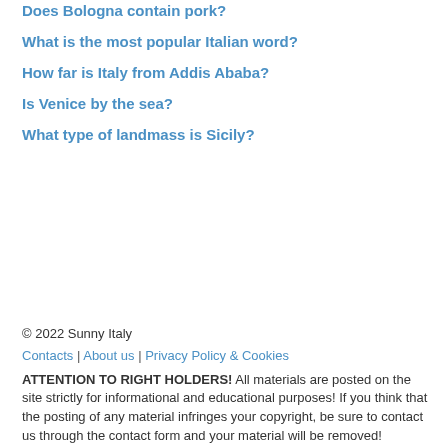Does Bologna contain pork?
What is the most popular Italian word?
How far is Italy from Addis Ababa?
Is Venice by the sea?
What type of landmass is Sicily?
© 2022 Sunny Italy
Contacts | About us | Privacy Policy & Cookies
ATTENTION TO RIGHT HOLDERS! All materials are posted on the site strictly for informational and educational purposes! If you think that the posting of any material infringes your copyright, be sure to contact us through the contact form and your material will be removed!